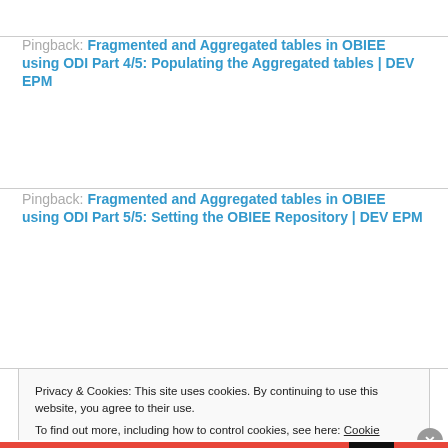Pingback: Fragmented and Aggregated tables in OBIEE using ODI Part 4/5: Populating the Aggregated tables | DEV EPM
Pingback: Fragmented and Aggregated tables in OBIEE using ODI Part 5/5: Setting the OBIEE Repository | DEV EPM
Privacy & Cookies: This site uses cookies. By continuing to use this website, you agree to their use. To find out more, including how to control cookies, see here: Cookie Policy